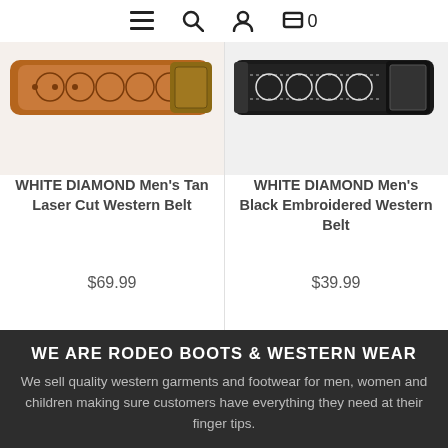[Figure (screenshot): Navigation bar with hamburger menu, search icon, user icon, and cart icon with 0 items]
[Figure (photo): WHITE DIAMOND Men's Tan Laser Cut Western Belt product image showing tan leather belt with laser cut floral pattern]
WHITE DIAMOND Men's Tan Laser Cut Western Belt
$69.99
[Figure (photo): WHITE DIAMOND Men's Black Embroidered Western Belt product image showing black and white patterned belt]
WHITE DIAMOND Men's Black Embroidered Western Belt
$39.99
WE ARE RODEO BOOTS & WESTERN WEAR
We sell quality western garments and footwear for men, women and children making sure customers have everything they need at their finger tips.